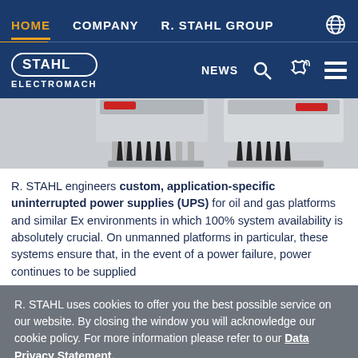HOME   COMPANY   R. STAHL GROUP
[Figure (logo): STAHL ELECTROMACH logo with navigation icons: NEWS, search, phone, menu]
[Figure (photo): Industrial UPS equipment with black cable connectors on grey/white units]
R. STAHL engineers custom, application-specific uninterrupted power supplies (UPS) for oil and gas platforms and similar Ex environments in which 100% system availability is absolutely crucial. On unmanned platforms in particular, these systems ensure that, in the event of a power failure, power continues to be supplied
R. STAHL uses cookies to offer you the best possible service on our website. By closing the window you will acknowledge our cookie policy. For more information please refer to our Data Privacy Statement.